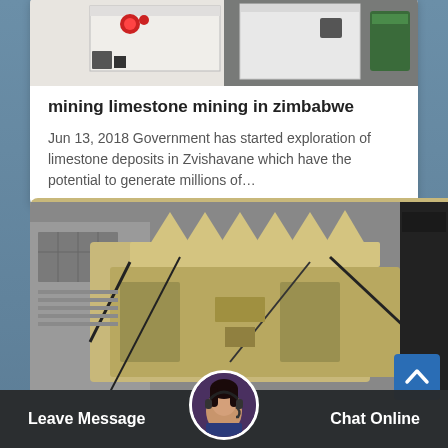[Figure (photo): Industrial mining machinery photo showing white and red equipment]
mining limestone mining in zimbabwe
Jun 13, 2018 Government has started exploration of limestone deposits in Zvishavane which have the potential to generate millions of...
[Figure (photo): Large yellow/beige industrial crusher or mining equipment outdoors]
Leave Message
[Figure (photo): Avatar of a woman with headset representing customer service chat]
Chat Online